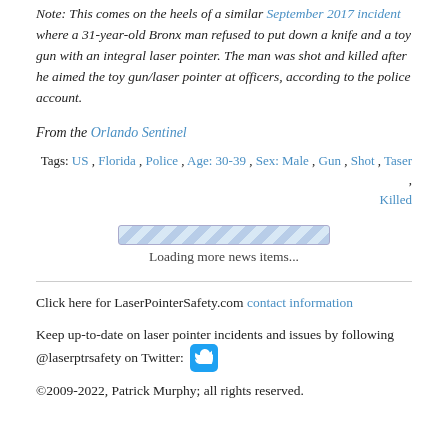Note: This comes on the heels of a similar September 2017 incident where a 31-year-old Bronx man refused to put down a knife and a toy gun with an integral laser pointer. The man was shot and killed after he aimed the toy gun/laser pointer at officers, according to the police account.
From the Orlando Sentinel
Tags: US, Florida, Police, Age: 30-39, Sex: Male, Gun, Shot, Taser, Killed
[Figure (other): Loading progress bar with striped pattern]
Loading more news items...
Click here for LaserPointerSafety.com contact information
Keep up-to-date on laser pointer incidents and issues by following @laserptrsafety on Twitter: [Twitter bird icon]
©2009-2022, Patrick Murphy; all rights reserved.